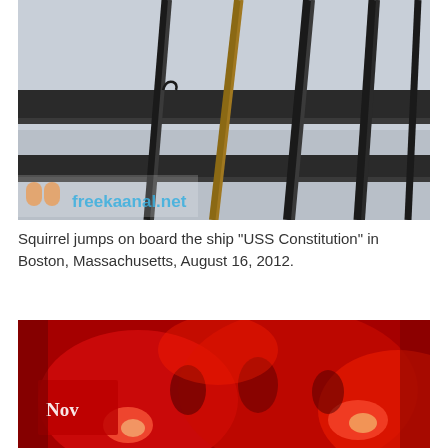[Figure (photo): Close-up photograph of ship rigging ropes and masts against a grey sky, with a watermark 'freekaanal.net' visible in the lower left corner.]
Squirrel jumps on board the ship "USS Constitution" in Boston, Massachusetts, August 16, 2012.
[Figure (photo): Photograph of people holding red banners and flares at night, bathed in red light. A sign reading 'Nov' is visible on the left.]